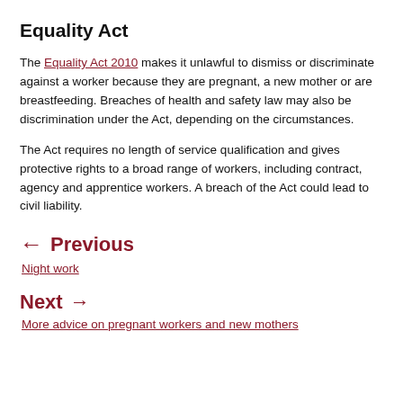Equality Act
The Equality Act 2010 makes it unlawful to dismiss or discriminate against a worker because they are pregnant, a new mother or are breastfeeding. Breaches of health and safety law may also be discrimination under the Act, depending on the circumstances.
The Act requires no length of service qualification and gives protective rights to a broad range of workers, including contract, agency and apprentice workers. A breach of the Act could lead to civil liability.
← Previous
Night work
Next →
More advice on pregnant workers and new mothers